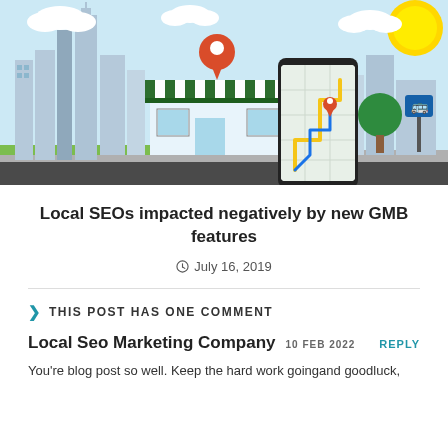[Figure (illustration): Illustrated scene of a city with a storefront, a map location pin, and a hand holding a smartphone showing a map with navigation route. Sunny sky with clouds in the background.]
Local SEOs impacted negatively by new GMB features
July 16, 2019
THIS POST HAS ONE COMMENT
Local Seo Marketing Company  10 FEB 2022  REPLY
You're blog post so well. Keep the hard work goingand goodluck,